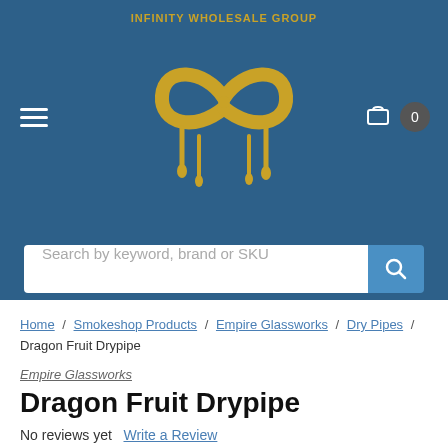[Figure (logo): Infinity Wholesale Group logo — golden infinity symbol with dripping effect on blue background, with text INFINITY WHOLESALE GROUP above]
Search by keyword, brand or SKU
Home / Smokeshop Products / Empire Glassworks / Dry Pipes / Dragon Fruit Drypipe
Empire Glassworks
Dragon Fruit Drypipe
No reviews yet   Write a Review
SKU: 2346